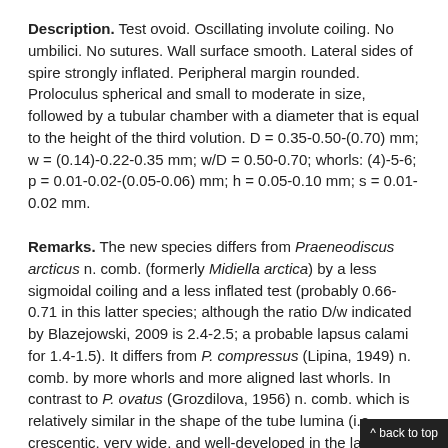Description. Test ovoid. Oscillating involute coiling. No umbilici. No sutures. Wall surface smooth. Lateral sides of spire strongly inflated. Peripheral margin rounded. Proloculus spherical and small to moderate in size, followed by a tubular chamber with a diameter that is equal to the height of the third volution. D = 0.35-0.50-(0.70) mm; w = (0.14)-0.22-0.35 mm; w/D = 0.50-0.70; whorls: (4)-5-6; p = 0.01-0.02-(0.05-0.06) mm; h = 0.05-0.10 mm; s = 0.01-0.02 mm.
Remarks. The new species differs from Praeneodiscus arcticus n. comb. (formerly Midiella arctica) by a less sigmoidal coiling and a less inflated test (probably 0.66-0.71 in this latter species; although the ratio D/w indicated by Blazejowski, 2009 is 2.4-2.5; a probable lapsus calami for 1.4-1.5). It differs from P. compressus (Lipina, 1949) n. comb. by more whorls and more aligned last whorls. In contrast to P. ovatus (Grozdilova, 1956) n. comb. which is relatively similar in the shape of the tube lumina (i.e., crescentic, very wide, and well-developed in the lateral sides), the lumina